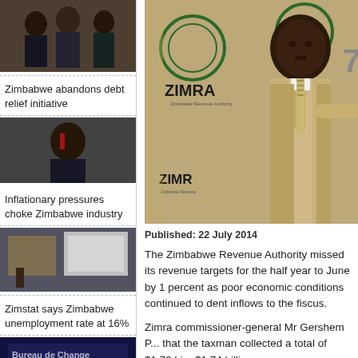[Figure (photo): Group of men in suits, handshaking or gathered together]
Zimbabwe abandons debt relief initiative
[Figure (photo): Man in suit with red tie, serious expression]
Inflationary pressures choke Zimbabwe industry
[Figure (photo): Indoor scene with boxes and projection screen]
Zimstat says Zimbabwe unemployment rate at 16%
[Figure (photo): Bureau de Change Foreign Exchange sign lit up]
[Figure (photo): ZIMRA Zimbabwe Revenue Authority backdrop with official man in suit speaking]
Published: 22 July 2014
The Zimbabwe Revenue Authority missed its revenue targets for the half year to June by 1 percent as poor economic conditions continued to dent inflows to the fiscus.
Zimra commissioner-general Mr Gershem Pasi told legislators that the taxman collected a total of $1,72 bi... $1.74 billion.